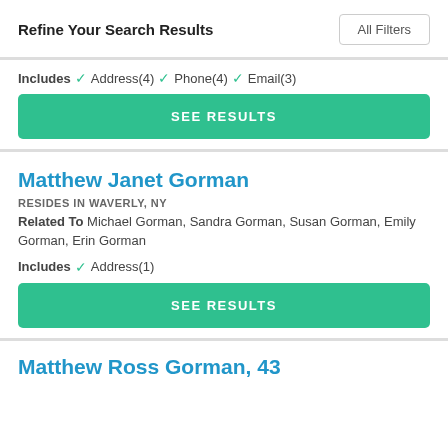Refine Your Search Results
All Filters
Includes ✓ Address(4) ✓ Phone(4) ✓ Email(3)
SEE RESULTS
Matthew Janet Gorman
RESIDES IN WAVERLY, NY
Related To Michael Gorman, Sandra Gorman, Susan Gorman, Emily Gorman, Erin Gorman
Includes ✓ Address(1)
SEE RESULTS
Matthew Ross Gorman, 43